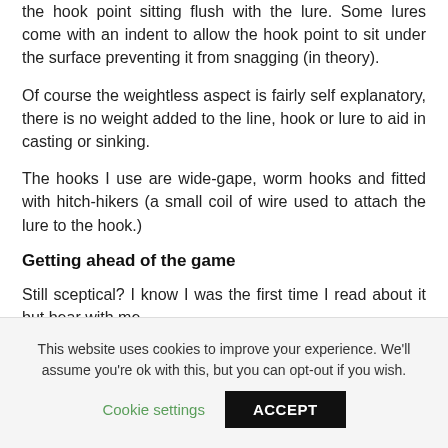the hook point sitting flush with the lure. Some lures come with an indent to allow the hook point to sit under the surface preventing it from snagging (in theory).
Of course the weightless aspect is fairly self explanatory, there is no weight added to the line, hook or lure to aid in casting or sinking.
The hooks I use are wide-gape, worm hooks and fitted with hitch-hikers (a small coil of wire used to attach the lure to the hook.)
Getting ahead of the game
Still sceptical? I know I was the first time I read about it but bear with me.
This website uses cookies to improve your experience. We'll assume you're ok with this, but you can opt-out if you wish.